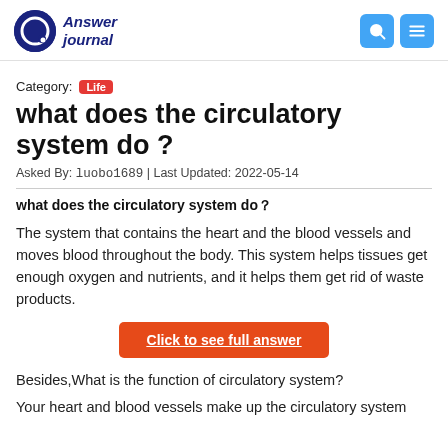Answer journal
Category: Life
what does the circulatory system do ?
Asked By: luobo1689 | Last Updated: 2022-05-14
what does the circulatory system do？
The system that contains the heart and the blood vessels and moves blood throughout the body. This system helps tissues get enough oxygen and nutrients, and it helps them get rid of waste products.
Click to see full answer
Besides,What is the function of circulatory system?
Your heart and blood vessels make up the circulatory system